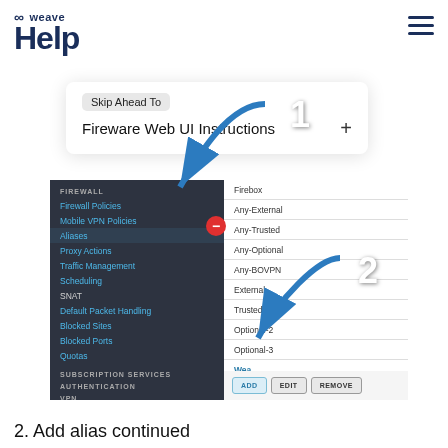[Figure (logo): Weave Help logo with infinity symbol]
[Figure (screenshot): Weave Help page screenshot showing Skip Ahead To Fireware Web UI Instructions panel, firewall navigation menu on left, alias list on right with ADD EDIT REMOVE buttons, arrows labeled 1 and 2 pointing to Aliases menu item and Weave entry]
2. Add alias continued